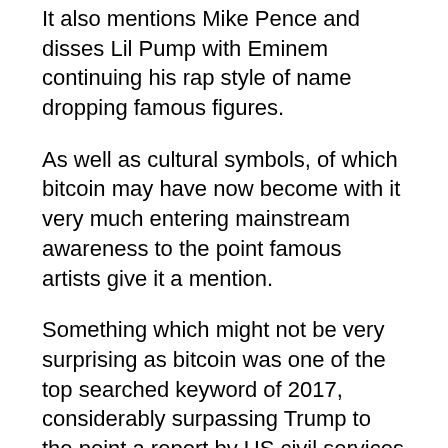It also mentions Mike Pence and disses Lil Pump with Eminem continuing his rap style of name dropping famous figures.
As well as cultural symbols, of which bitcoin may have now become with it very much entering mainstream awareness to the point famous artists give it a mention.
Something which might not be very surprising as bitcoin was one of the top searched keyword of 2017, considerably surpassing Trump to the point a report by US civil services said America wants to know what is bitcoin.
Bitcoin's mention in such a high profile album, however, is a first. While many songs have been sang to the peer to peer currency, none